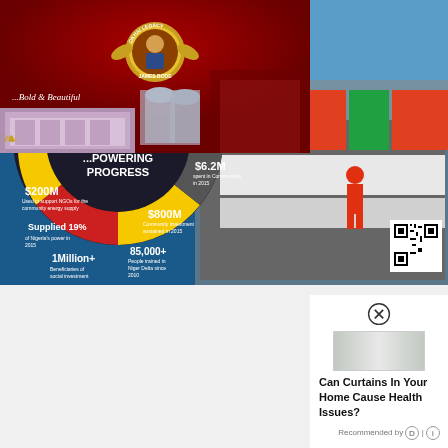[Figure (infographic): Shell Companies in Nigeria ...Powering Progress infographic. A colorful wheel/spinner with segments in yellow, red, black, and grey showing statistics: 190 companies, 2500 suppliers, $200M, Supplied 19%, 1Million+, 85,000+, $800M, $6.2M, $98.6M, $61.7M. Background shows a ship dock with a worker in red overalls and a QR code.]
[Figure (photo): An Okhai Legacy advertisement with red background showing a circular badge/medallion with a person's portrait, text reading 'AN OKHAI LEGACY' and '...Bold & Beautiful', a building photograph, and decorative elements.]
Can Curtains In Your Home Cause Health Issues?
Recommended by